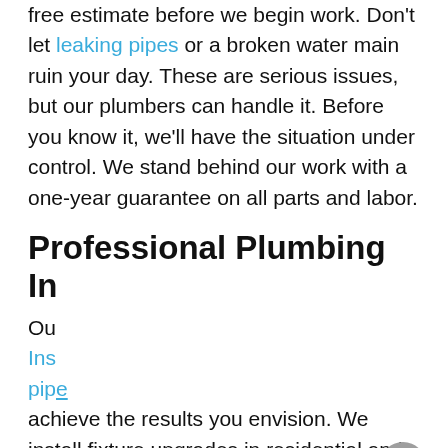free estimate before we begin work. Don't let leaking pipes or a broken water main ruin your day. These are serious issues, but our plumbers can handle it. Before you know it, we'll have the situation under control. We stand behind our work with a one-year guarantee on all parts and labor.
Professional Plumbing In...
[Figure (screenshot): Chat widget overlay with orange header saying 'Welcome, how can we help you?' and a text input area with placeholder 'Write your message...' and a send button. A grey close (X) button appears in the top right corner of the overlay.]
Ou... Ins... pip... achieve the results you envision. We install fixture upgrades in residential and commercial settings including toilet, tub, shower, water heater and sink replacements